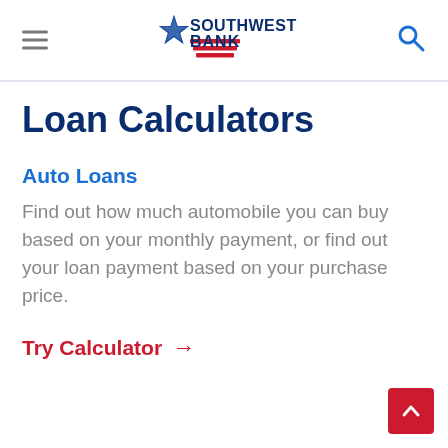[Figure (logo): Southwest Bank logo with blue star and red stripes, centered in header navigation bar]
Loan Calculators
Auto Loans
Find out how much automobile you can buy based on your monthly payment, or find out your loan payment based on your purchase price.
Try Calculator →